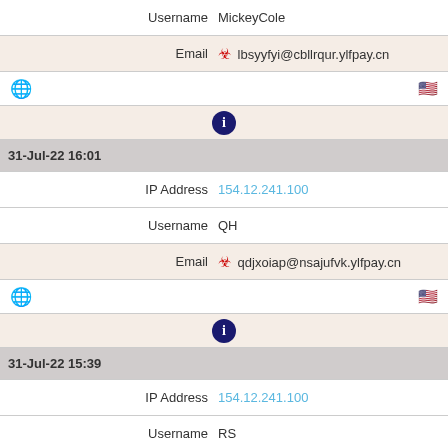Username  MickeyCole
Email  lbsyyfyi@cbllrqur.ylfpay.cn
[Figure (infographic): Globe icon on left, US flag icon on right]
[Figure (infographic): Tor/privacy icon (dark blue circle with i)]
31-Jul-22 16:01
IP Address  154.12.241.100
Username  QH
Email  qdjxoiap@nsajufvk.ylfpay.cn
[Figure (infographic): Globe icon on left, US flag icon on right]
[Figure (infographic): Tor/privacy icon (dark blue circle with i)]
31-Jul-22 15:39
IP Address  154.12.241.100
Username  RS
Email  gkjolqgn@reiedaal.ylfpay.cn
[Figure (infographic): Globe icon on left, US flag icon on right]
[Figure (infographic): Tor/privacy icon (dark blue circle with i)]
31-Jul-22 02:54